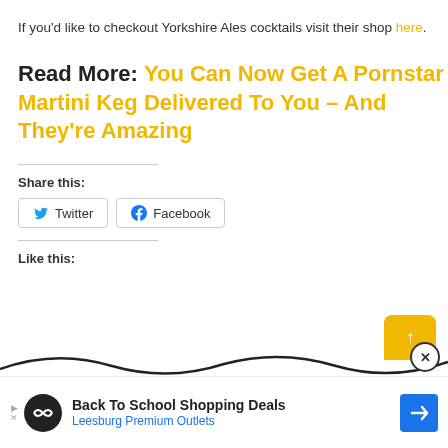If you'd like to checkout Yorkshire Ales cocktails visit their shop here.
Read More: You Can Now Get A Pornstar Martini Keg Delivered To You – And They're Amazing
Share this:
Twitter  Facebook
Like this:
[Figure (screenshot): Back To School Shopping Deals - Leesburg Premium Outlets advertisement bar]